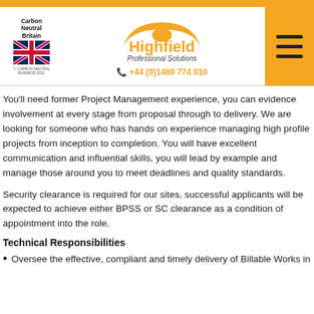[Figure (logo): Highfield Professional Solutions logo with Carbon Neutral Britain badge and phone number +44 (0)1489 774 010, plus hamburger menu button]
You'll need former Project Management experience, you can evidence involvement at every stage from proposal through to delivery. We are looking for someone who has hands on experience managing high profile projects from inception to completion. You will have excellent communication and influential skills, you will lead by example and manage those around you to meet deadlines and quality standards.
Security clearance is required for our sites, successful applicants will be expected to achieve either BPSS or SC clearance as a condition of appointment into the role.
Technical Responsibilities
Oversee the effective, compliant and timely delivery of Billable Works in